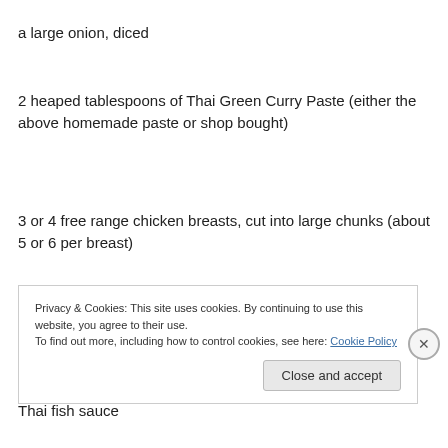a large onion, diced
2 heaped tablespoons of Thai Green Curry Paste (either the above homemade paste or shop bought)
3 or 4 free range chicken breasts, cut into large chunks (about 5 or 6 per breast)
400ml of coconut milk
Thai fish sauce
Privacy & Cookies: This site uses cookies. By continuing to use this website, you agree to their use.
To find out more, including how to control cookies, see here: Cookie Policy
Close and accept